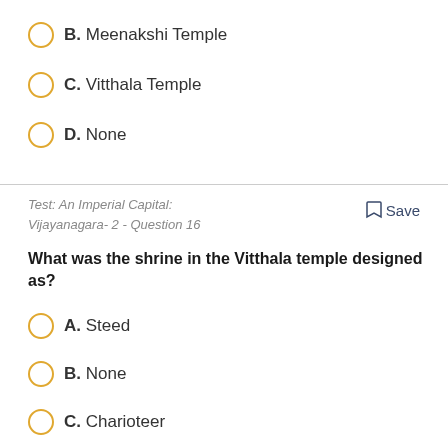B. Meenakshi Temple
C. Vitthala Temple
D. None
Test: An Imperial Capital: Vijayanagara- 2 - Question 16
What was the shrine in the Vitthala temple designed as?
A. Steed
B. None
C. Charioteer